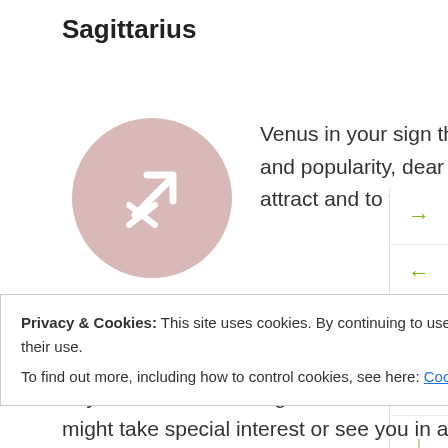Sagittarius
[Figure (illustration): Sagittarius zodiac symbol — arrow and cross — in white on a dusty pink circle]
Sagittarius
Venus in your sign these days (and until the 23rd) boosts your appeal and popularity, dear Sagittarius. Today, Uranus supports your power to attract and to thoroughly enjoy yourself as well today, and your vibrant, progressive approach to social interactions is appreciated. You are seen in a positive light, or you could be donning a new look that impresses others.
Privacy & Cookies: This site uses cookies. By continuing to use this website, you agree to their use.
To find out more, including how to control cookies, see here: Cookie Policy
Close and accept
might take special interest or see you in a whole new